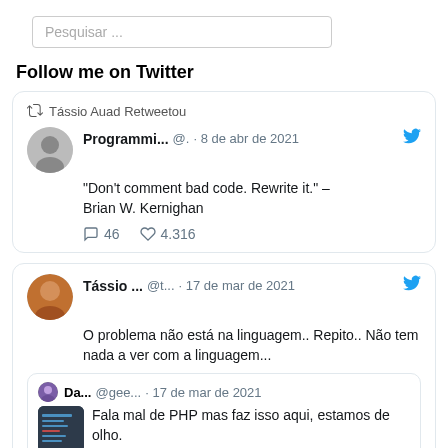Pesquisar ...
Follow me on Twitter
Tássio Auad Retweetou
Programmi... @. · 8 de abr de 2021
"Don't comment bad code. Rewrite it." – Brian W. Kernighan
46  4.316
Tássio ... @t. · 17 de mar de 2021
O problema não está na linguagem.. Repito.. Não tem nada a ver com a linguagem...
Da... @gee. · 17 de mar de 2021
Fala mal de PHP mas faz isso aqui, estamos de olho.